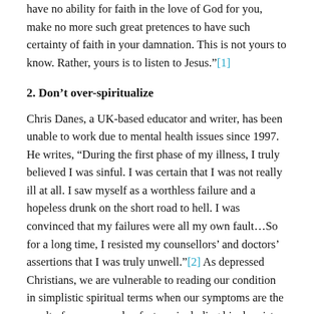have no ability for faith in the love of God for you, make no more such great pretences to have such certainty of faith in your damnation. This is not yours to know. Rather, yours is to listen to Jesus."[1]
2. Don't over-spiritualize
Chris Danes, a UK-based educator and writer, has been unable to work due to mental health issues since 1997. He writes, "During the first phase of my illness, I truly believed I was sinful. I was certain that I was not really ill at all. I saw myself as a worthless failure and a hopeless drunk on the short road to hell. I was convinced that my failures were all my own fault…So for a long time, I resisted my counsellors' and doctors' assertions that I was truly unwell."[2] As depressed Christians, we are vulnerable to reading our condition in simplistic spiritual terms when our symptoms are the result of many complex factors, including biochemistry. These interpretations take us further into darkness and despair, and as Danes found, can be a barrier to seeking appropriate medical help.
3. Access medical help